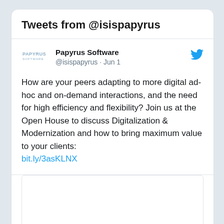Tweets from @isispapyrus
Papyrus Software
@isispapyrus · Jun 1
How are your peers adapting to more digital ad-hoc and on-demand interactions, and the need for high efficiency and flexibility? Join us at the Open House to discuss Digitalization & Modernization and how to bring maximum value to your clients: bit.ly/3asKLNX
[Figure (other): Blank white image area below tweet]